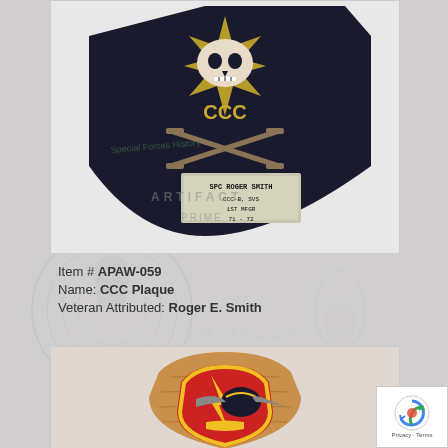[Figure (photo): A dark shield-shaped plaque with skull and crossbones motif, 'CCC' lettering, and an engraved nameplate reading 'SPC ROGER SMITH, CCC-B, SVS, 1ST MFGR, 71-72'. Watermark text 'Special Forces History' and 'ARTIFACT' and 'PRIME' overlaid.]
Item # APAW-059
Name: CCC Plaque
Veteran Attributed: Roger E. Smith
[Figure (photo): A wooden shield-shaped plaque with a red, yellow, and black military unit emblem/patch featuring a lightning bolt and eagle design.]